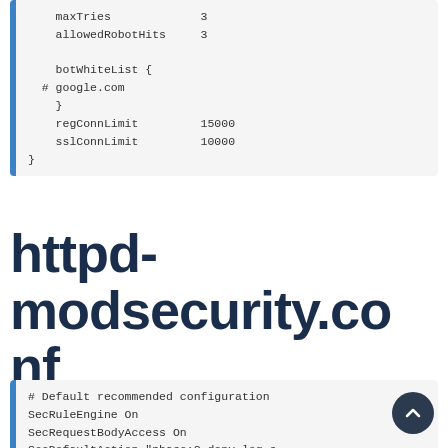[Figure (other): Code block showing configuration snippet with maxTries 3, allowedRobotHits 3, botWhiteList { # google.com }, regConnLimit 15000, sslConnLimit 10000, closing brace]
httpd-modsecurity.conf
[Figure (other): Code block showing: # Default recommended configuration, SecRuleEngine On, SecRequestBodyAccess On, SecDefaultAction "phase:2,deny,log,s, SecRequestBodyLimitAction ProcessPar, SecResponseBodyLimitAction ProcessPa]